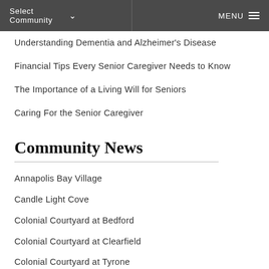Select Community   MENU
Understanding Dementia and Alzheimer's Disease
Financial Tips Every Senior Caregiver Needs to Know
The Importance of a Living Will for Seniors
Caring For the Senior Caregiver
Community News
Annapolis Bay Village
Candle Light Cove
Colonial Courtyard at Bedford
Colonial Courtyard at Clearfield
Colonial Courtyard at Tyrone